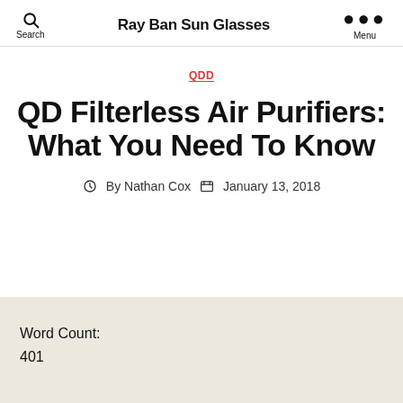Ray Ban Sun Glasses
QDD
QD Filterless Air Purifiers: What You Need To Know
By Nathan Cox  January 13, 2018
Word Count:
401